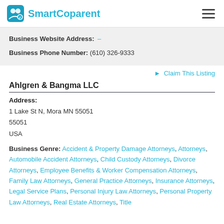SmartCoparent
Business Website Address: –
Business Phone Number: (610) 326-9333
► Claim This Listing
Ahlgren & Bangma LLC
Address:
1 Lake St N, Mora MN 55051
55051
USA
Business Genre: Accident & Property Damage Attorneys, Attorneys, Automobile Accident Attorneys, Child Custody Attorneys, Divorce Attorneys, Employee Benefits & Worker Compensation Attorneys, Family Law Attorneys, General Practice Attorneys, Insurance Attorneys, Legal Service Plans, Personal Injury Law Attorneys, Personal Property Law Attorneys, Real Estate Attorneys, Title